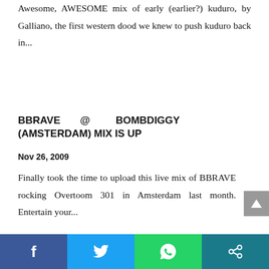Awesome, AWESOME mix of early (earlier?) kuduro, by Galliano, the first western dood we knew to push kuduro back in...
BBRAVE @ BOMBDIGGY (AMSTERDAM) MIX IS UP
Nov 26, 2009
Finally took the time to upload this live mix of BBRAVE rocking Overtoom 301 in Amsterdam last month. Entertain your...
Social share bar: Facebook, Twitter, WhatsApp, Share